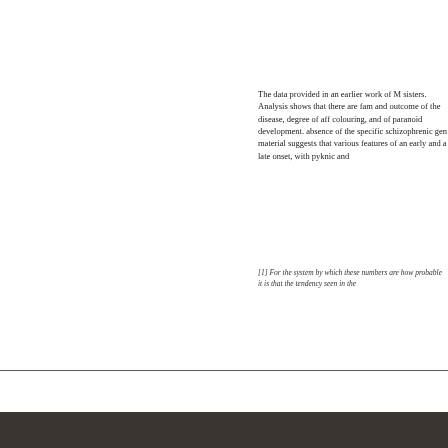The data provided in an earlier work of M sisters. Analysis shows that there are fam and outcome of the disease, degree of aff colouring, and of paranoid development. absence of the specific schizophrenic gen material suggests that various features of an early and a late onset, with pyknic and
[1] For the system by which these numbers are how probable it is that the tendency seen in the